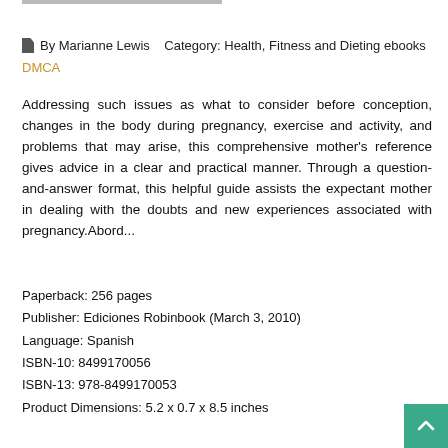By Marianne Lewis   Category: Health, Fitness and Dieting ebooks
DMCA
Addressing such issues as what to consider before conception, changes in the body during pregnancy, exercise and activity, and problems that may arise, this comprehensive mother's reference gives advice in a clear and practical manner. Through a question-and-answer format, this helpful guide assists the expectant mother in dealing with the doubts and new experiences associated with pregnancy.Abord...
Paperback: 256 pages
Publisher: Ediciones Robinbook (March 3, 2010)
Language: Spanish
ISBN-10: 8499170056
ISBN-13: 978-8499170053
Product Dimensions: 5.2 x 0.7 x 8.5 inches